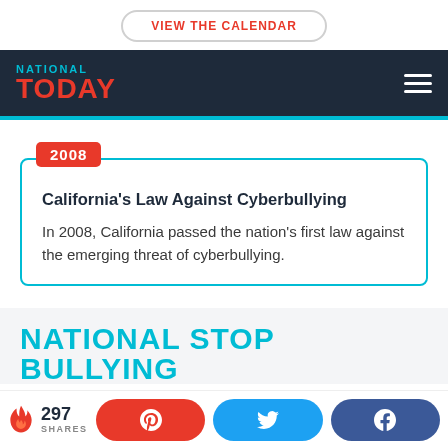VIEW THE CALENDAR
[Figure (logo): National Today logo with hamburger menu on dark navy background]
2008
California's Law Against Cyberbullying
In 2008, California passed the nation's first law against the emerging threat of cyberbullying.
NATIONAL STOP BULLYING
297 SHARES